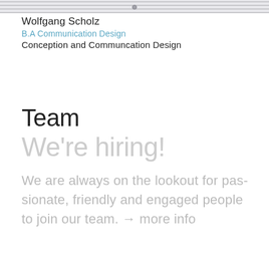[Figure (photo): Striped photo strip at top of page showing partial image]
Wolfgang Scholz
B.A Communication Design
Conception and Communcation Design
Team
We're hiring!
We are always on the lookout for passionate, friendly and engaged people to join our team. → more info